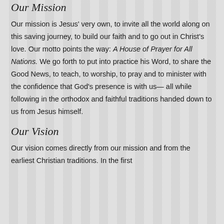Our Mission
Our mission is Jesus' very own, to invite all the world along on this saving journey, to build our faith and to go out in Christ's love. Our motto points the way: A House of Prayer for All Nations. We go forth to put into practice his Word, to share the Good News, to teach, to worship, to pray and to minister with the confidence that God's presence is with us— all while following in the orthodox and faithful traditions handed down to us from Jesus himself.
Our Vision
Our vision comes directly from our mission and from the earliest Christian traditions. In the first